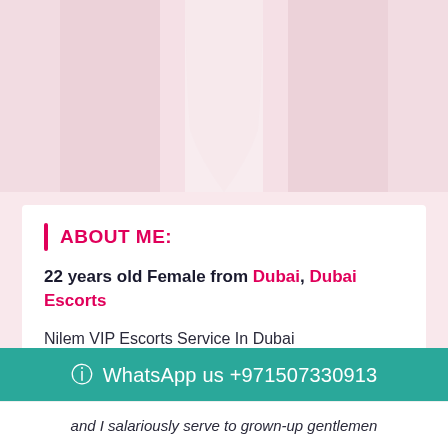[Figure (photo): Cropped photo of a young woman from waist down wearing white/light clothing, set against a light pink background]
ABOUT ME:
22 years old Female from Dubai, Dubai Escorts
Nilem VIP Escorts Service In Dubai +971522816810 , Nilem VIP Escorts Service In Dubai +971522816810
WhatsApp us +971507330913
and I salariously serve to grown-up gentlemen